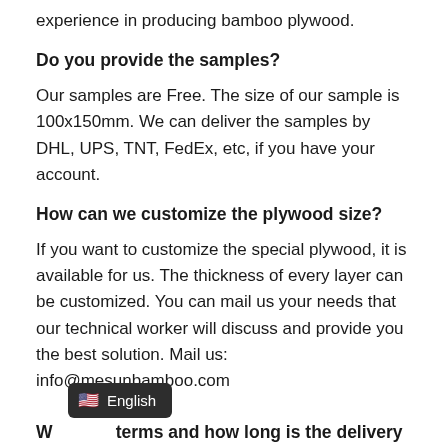experience in producing bamboo plywood.
Do you provide the samples?
Our samples are Free. The size of our sample is 100x150mm. We can deliver the samples by DHL, UPS, TNT, FedEx, etc, if you have your account.
How can we customize the plywood size?
If you want to customize the special plywood, it is available for us. The thickness of every layer can be customized. You can mail us your needs that our technical worker will discuss and provide you the best solution. Mail us: info@mesunbamboo.com
W… terms and how long is the delivery